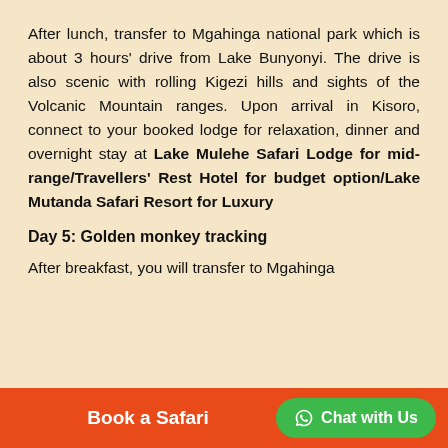After lunch, transfer to Mgahinga national park which is about 3 hours' drive from Lake Bunyonyi. The drive is also scenic with rolling Kigezi hills and sights of the Volcanic Mountain ranges. Upon arrival in Kisoro, connect to your booked lodge for relaxation, dinner and overnight stay at Lake Mulehe Safari Lodge for mid-range/Travellers' Rest Hotel for budget option/Lake Mutanda Safari Resort for Luxury
Day 5: Golden monkey tracking
After breakfast, you will transfer to Mgahinga
Book a Safari   Chat with Us